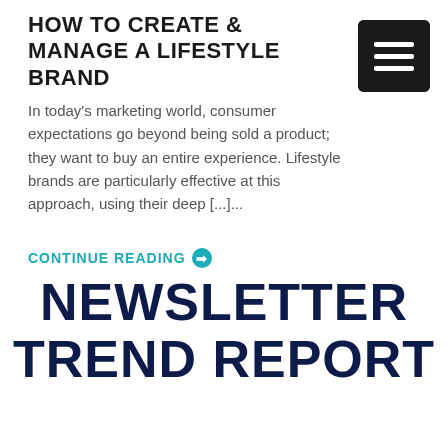HOW TO CREATE & MANAGE A LIFESTYLE BRAND
In today's marketing world, consumer expectations go beyond being sold a product; they want to buy an entire experience. Lifestyle brands are particularly effective at this approach, using their deep [...]...
CONTINUE READING ❯
NEWSLETTER TREND REPORT